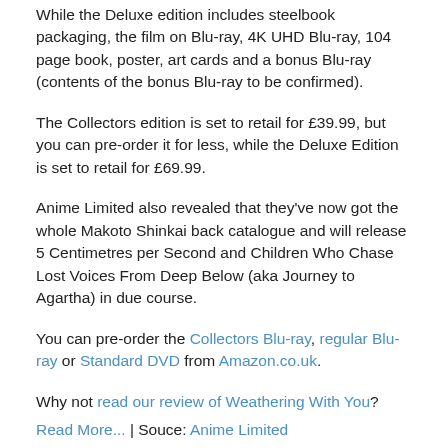While the Deluxe edition includes steelbook packaging, the film on Blu-ray, 4K UHD Blu-ray, 104 page book, poster, art cards and a bonus Blu-ray (contents of the bonus Blu-ray to be confirmed).
The Collectors edition is set to retail for £39.99, but you can pre-order it for less, while the Deluxe Edition is set to retail for £69.99.
Anime Limited also revealed that they've now got the whole Makoto Shinkai back catalogue and will release 5 Centimetres per Second and Children Who Chase Lost Voices From Deep Below (aka Journey to Agartha) in due course.
You can pre-order the Collectors Blu-ray, regular Blu-ray or Standard DVD from Amazon.co.uk.
Why not read our review of Weathering With You?
Read More... | Souce: Anime Limited
The Sky is Blue with a Single Cloud Gekiga Manga Release Details